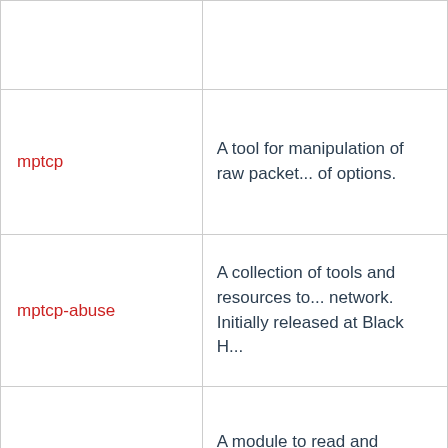| Tool | Description |
| --- | --- |
|  |  |
| mptcp | A tool for manipulation of raw packet... of options. |
| mptcp-abuse | A collection of tools and resources to... network. Initially released at Black H... |
| mrtparse | A module to read and analyze the M... |
| ms-sys | A tool to write Win9x-.. master boot r... RTM! |
|  | Msfvenom payload creator... |